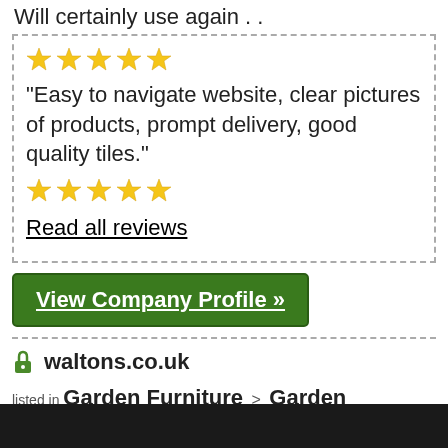Will certainly use again . .
[Figure (illustration): 5 yellow stars rating]
"Easy to navigate website, clear pictures of products, prompt delivery, good quality tiles."
[Figure (illustration): 5 yellow stars rating]
Read all reviews
View Company Profile »
waltons.co.uk
listed in Garden Furniture > Garden Buildings and Sheds